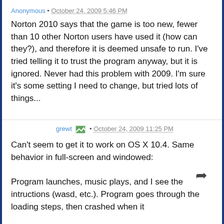Anonymous · October 24, 2009 5:46 PM
Norton 2010 says that the game is too new, fewer than 10 other Norton users have used it (how can they?), and therefore it is deemed unsafe to run. I've tried telling it to trust the program anyway, but it is ignored. Never had this problem with 2009. I'm sure it's some setting I need to change, but tried lots of things...
grewt · October 24, 2009 11:25 PM
Can't seem to get it to work on OS X 10.4. Same behavior in full-screen and windowed:

Program launches, music plays, and I see the intructions (wasd, etc.). Program goes through the loading steps, then crashed when it